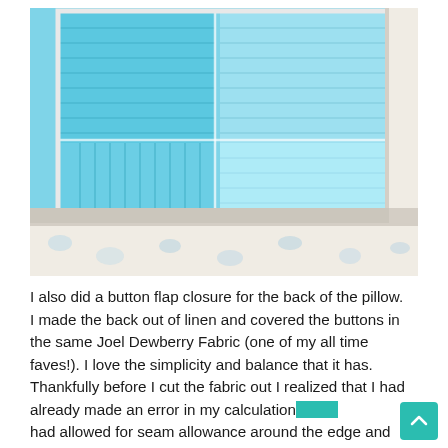[Figure (photo): Close-up photograph of a blue and white patchwork/pleated pillow with a decorative floral border trim, resting on a wooden surface.]
I also did a button flap closure for the back of the pillow. I made the back out of linen and covered the buttons in the same Joel Dewberry Fabric (one of my all time faves!). I love the simplicity and balance that it has. Thankfully before I cut the fabric out I realized that I had already made an error in my calculations. I had allowed for seam allowance around the edge and for the double turned edge on each side...but I didn't account for the